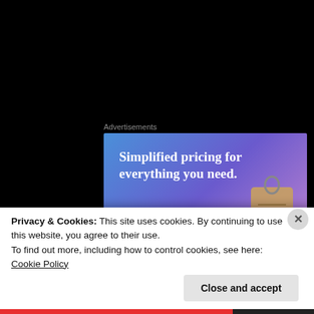Advertisements
[Figure (illustration): Advertisement banner with gradient background (blue to purple). Large white serif text reads 'Simplified pricing for everything you need.' A pink/magenta button says 'Build Your Website'. A price tag image is on the right side.]
[Figure (photo): Circular avatar showing a dramatic face with mouth open, dark horror-style photo.]
Books, Vertigo and Tea
Privacy & Cookies: This site uses cookies. By continuing to use this website, you agree to their use.
To find out more, including how to control cookies, see here: Cookie Policy
Close and accept